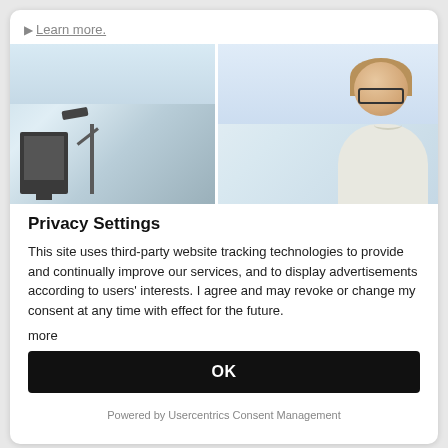▶ Learn more.
[Figure (photo): Office scene on left (monitor, desk lamp) and woman with glasses smiling on right, divided by a white vertical line]
Privacy Settings
This site uses third-party website tracking technologies to provide and continually improve our services, and to display advertisements according to users' interests. I agree and may revoke or change my consent at any time with effect for the future.
more
OK
Powered by Usercentrics Consent Management